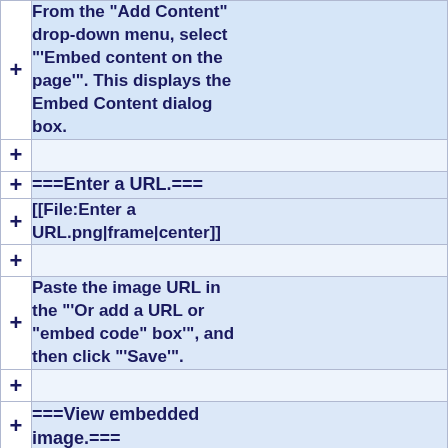From the "Add Content" drop-down menu, select "'Embed content on the page'". This displays the Embed Content dialog box.
===Enter a URL.===
[[File:Enter a URL.png|frame|center]]
Paste the image URL in the "'Or add a URL or "embed code" box'", and then click "'Save'".
===View embedded image.===